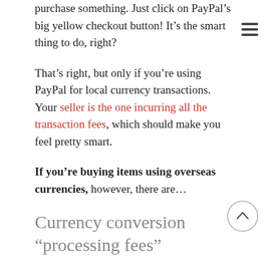purchase something. Just click on PayPal’s big yellow checkout button! It’s the smart thing to do, right?
That’s right, but only if you’re using PayPal for local currency transactions. Your seller is the one incurring all the transaction fees, which should make you feel pretty smart.
If you’re buying items using overseas currencies, however, there are…
Currency conversion “processing fees”
Which are hidden in PayPal’s fine print and not listed as an additional charge in the invoice —